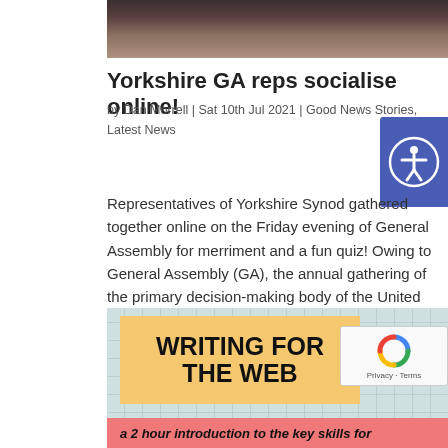[Figure (photo): Top portion of a photograph showing a person, cropped at the top of the page]
Yorkshire GA reps socialise online!
by Dan Morrell | Sat 10th Jul 2021 | Good News Stories, Latest News
Representatives of Yorkshire Synod gathered together online on the Friday evening of General Assembly for merriment and a fun quiz! Owing to General Assembly (GA), the annual gathering of the primary decision-making body of the United Reformed Church (URC), being...
[Figure (infographic): Writing for the Web promotional image with yellow background box showing WRITING FOR THE WEB in bold text, and a pink banner below reading 'a 2 hour introduction to the key skills for' on a grid background]